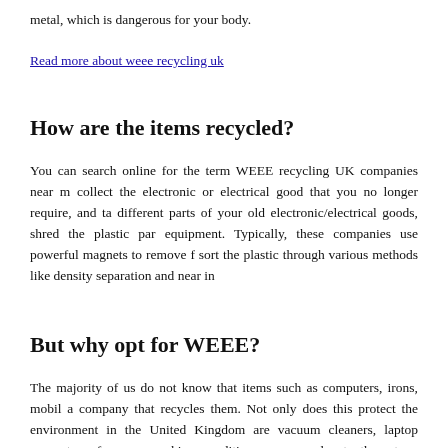metal, which is dangerous for your body.
Read more about weee recycling uk
How are the items recycled?
You can search online for the term WEEE recycling UK companies near me to collect the electronic or electrical good that you no longer require, and take different parts of your old electronic/electrical goods, shred the plastic parts of equipment. Typically, these companies use powerful magnets to remove ferrous sort the plastic through various methods like density separation and near in...
But why opt for WEEE?
The majority of us do not know that items such as computers, irons, mobile phones a company that recycles them. Not only does this protect the environment, in the United Kingdom are vacuum cleaners, laptop computers, freezers, working condition, you can donate them to a charity as well.
What does the disposal company do with your e
For example, mobile phones contain semiprecious and precious metals su...